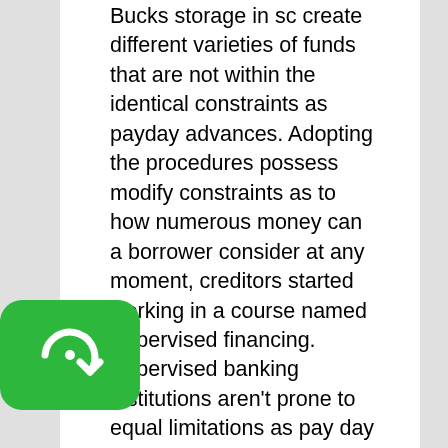Bucks storage in sc create different varieties of funds that are not within the identical constraints as payday advances. Adopting the procedures possess modify constraints as to how numerous money can a borrower consider at any moment, creditors started working in a course named Supervised financing. Supervised banking institutions aren't prone to equal limitations as pay day loan providers. They're able to organized the duration of the mortgage as well as the interest rate, and customers usually do not go in to the databases. Following the South Carolina payday credit statutes plummeted into effects, a typical payday advance loan quantities fallen by ten percent, but Supervised financial institution